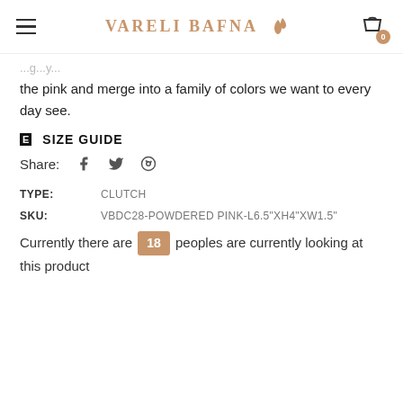VARELI BAFNA
the pink and merge into a family of colors we want to every day see.
SIZE GUIDE
Share:
| TYPE: | CLUTCH |
| --- | --- |
| SKU: | VBDC28-POWDERED PINK-L6.5"XH4"XW1.5" |
Currently there are 18 peoples are currently looking at this product